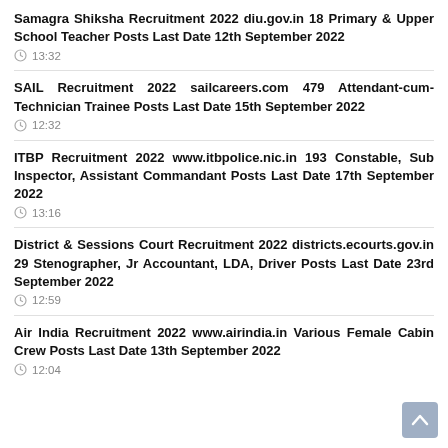Samagra Shiksha Recruitment 2022 diu.gov.in 18 Primary & Upper School Teacher Posts Last Date 12th September 2022
13:32
SAIL Recruitment 2022 sailcareers.com 479 Attendant-cum-Technician Trainee Posts Last Date 15th September 2022
12:32
ITBP Recruitment 2022 www.itbpolice.nic.in 193 Constable, Sub Inspector, Assistant Commandant Posts Last Date 17th September 2022
13:16
District & Sessions Court Recruitment 2022 districts.ecourts.gov.in 29 Stenographer, Jr Accountant, LDA, Driver Posts Last Date 23rd September 2022
12:59
Air India Recruitment 2022 www.airindia.in Various Female Cabin Crew Posts Last Date 13th September 2022
12:04